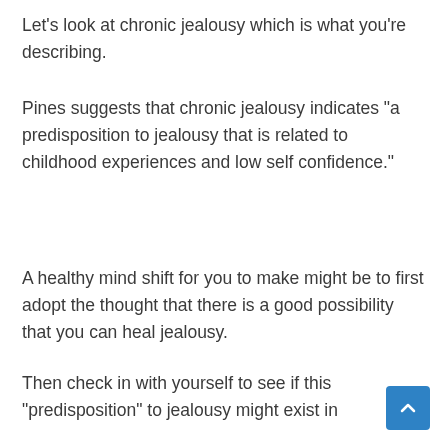Let’s look at chronic jealousy which is what you’re describing.
Pines suggests that chronic jealousy indicates “a predisposition to jealousy that is related to childhood experiences and low self confidence.”
A healthy mind shift for you to make might be to first adopt the thought that there is a good possibility that you can heal jealousy.
Then check in with yourself to see if this “predisposition” to jealousy might exist in